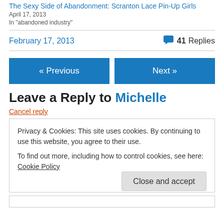The Sexy Side of Abandonment: Scranton Lace Pin-Up Girls
April 17, 2013
In "abandoned industry"
February 17, 2013   41 Replies
« Previous
Next »
Leave a Reply to Michelle
Cancel reply
Privacy & Cookies: This site uses cookies. By continuing to use this website, you agree to their use.
To find out more, including how to control cookies, see here: Cookie Policy
Close and accept